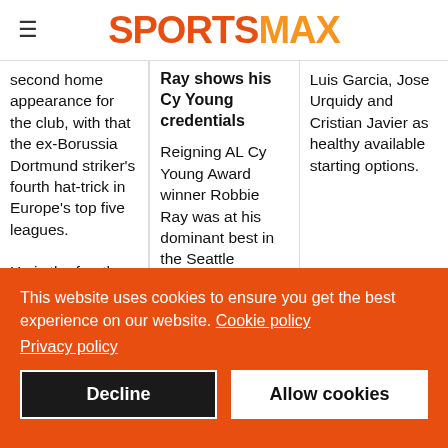SPORTSMAX
second home appearance for the club, with that the ex-Borussia Dortmund striker's fourth hat-trick in Europe's top five leagues.

He is the fourth
Ray shows his Cy Young credentials
Reigning AL Cy Young Award winner Robbie Ray was at his dominant best in the Seattle
Luis Garcia, Jose Urquidy and Cristian Javier as healthy available starting options.
This website uses cookies to ensure you get the best experience on our website. Cookie policy
Privacy policy
Decline
Allow cookies